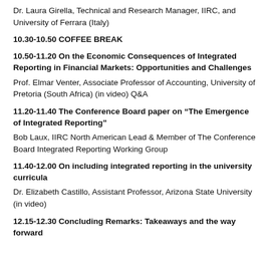Dr. Laura Girella, Technical and Research Manager, IIRC, and University of Ferrara (Italy)
10.30-10.50 COFFEE BREAK
10.50-11.20 On the Economic Consequences of Integrated Reporting in Financial Markets: Opportunities and Challenges
Prof. Elmar Venter, Associate Professor of Accounting, University of Pretoria (South Africa) (in video) Q&A
11.20-11.40 The Conference Board paper on “The Emergence of Integrated Reporting”
Bob Laux, IIRC North American Lead & Member of The Conference Board Integrated Reporting Working Group
11.40-12.00 On including integrated reporting in the university curricula
Dr. Elizabeth Castillo, Assistant Professor, Arizona State University (in video)
12.15-12.30 Concluding Remarks: Takeaways and the way forward